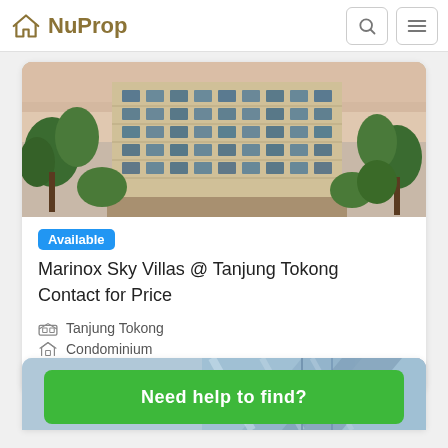NuProp
[Figure (photo): Exterior photo of a multi-story condominium building surrounded by trees, with a pink/orange sky in the background]
Available
Marinox Sky Villas @ Tanjung Tokong
Contact for Price
Tanjung Tokong
Condominium
From 1260 sqft
[Figure (photo): Partial photo of a modern glass building, blue-toned, partially visible at the bottom of the page]
Need help to find?